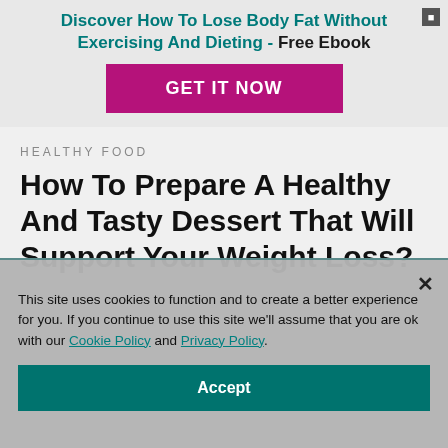Discover How To Lose Body Fat Without Exercising And Dieting - Free Ebook
[Figure (other): Purple/magenta GET IT NOW button banner]
HEALTHY FOOD
How To Prepare A Healthy And Tasty Dessert That Will Support Your Weight Loss?
This site uses cookies to function and to create a better experience for you. If you continue to use this site we'll assume that you are ok with our Cookie Policy and Privacy Policy.
Accept